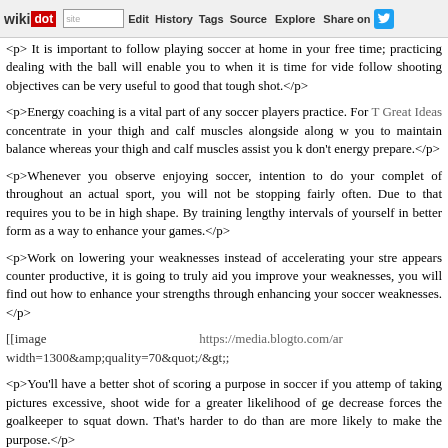wikidot | site | Edit | History | Tags | Source | Explore | Share on [Twitter]
<p> It is important to follow playing soccer at home in your free time; practicing dealing with the ball will enable you to when it is time for vide follow shooting objectives can be very useful to good that tough shot.</p>
<p>Energy coaching is a vital part of any soccer players practice. For T Great Ideas concentrate in your thigh and calf muscles alongside along w you to maintain balance whereas your thigh and calf muscles assist you k don't energy prepare.</p>
<p>Whenever you observe enjoying soccer, intention to do your complet of throughout an actual sport, you will not be stopping fairly often. Due to that requires you to be in high shape. By training lengthy intervals of yourself in better form as a way to enhance your games.</p>
<p>Work on lowering your weaknesses instead of accelerating your stre appears counter productive, it is going to truly aid you improve your weaknesses, you will find out how to enhance your strengths through enhancing your soccer weaknesses.</p>
[[image https://media.blogto.com/ar width=1300&amp;quality=70&quot;/&gt;;
<p>You'll have a better shot of scoring a purpose in soccer if you attemp of taking pictures excessive, shoot wide for a greater likelihood of ge decrease forces the goalkeeper to squat down. That's harder to do than are more likely to make the purpose.</p>
<p>One among an important issues with regards to soccer is velocity. T certainly one of the easiest ways to increase your velocity is to add 5 p your drills. By working with Wish to Learn about Soccer? That is For Yo